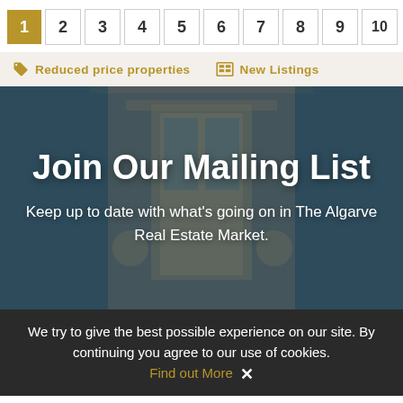1 2 3 4 5 6 7 8 9 10
Reduced price properties  New Listings
[Figure (photo): Background photo of a luxury real estate property entrance with glass doors and warm lighting, overlaid with dark teal tint]
Join Our Mailing List
Keep up to date with what's going on in The Algarve Real Estate Market.
We try to give the best possible experience on our site. By continuing you agree to our use of cookies. Find out More ✕